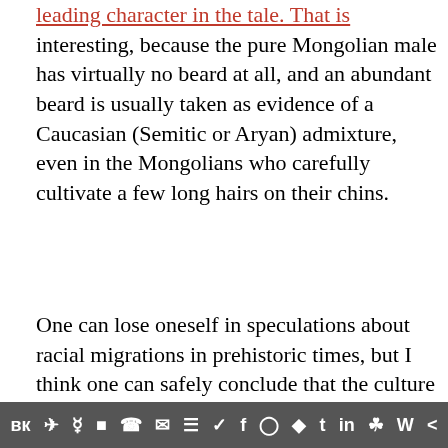leading character in the tale. That is interesting, because the pure Mongolian male has virtually no beard at all, and an abundant beard is usually taken as evidence of a Caucasian (Semitic or Aryan) admixture, even in the Mongolians who carefully cultivate a few long hairs on their chins.
One can lose oneself in speculations about racial migrations in prehistoric times, but I think one can safely conclude that the culture of China was affected in some degree by an admixture of Caucasian and even specifically Aryan blood at various times in its history.
One of the legends about Huang-Ti, the supposed founder of China, says that he led his people into
Social sharing bar with icons: VK, Telegram, Reddit, WordPress, WhatsApp, Email, Buffer, Twitter, Facebook, Instagram, Pinterest, Tumblr, LinkedIn, Gift, Wordpress, Share